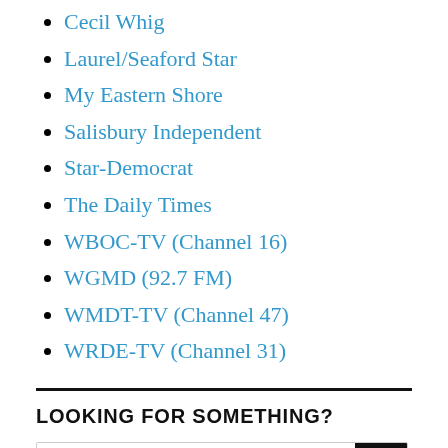Cecil Whig
Laurel/Seaford Star
My Eastern Shore
Salisbury Independent
Star-Democrat
The Daily Times
WBOC-TV (Channel 16)
WGMD (92.7 FM)
WMDT-TV (Channel 47)
WRDE-TV (Channel 31)
LOOKING FOR SOMETHING?